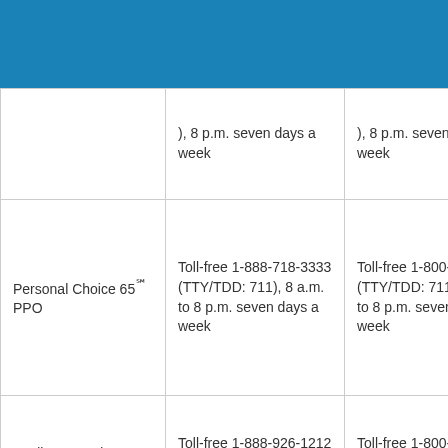|  | …), 8 p.m. seven days a week | …), 8 p.m. seven days a week |
| Personal Choice 65℠ PPO | Toll-free 1-888-718-3333 (TTY/TDD: 711), 8 a.m. to 8 p.m. seven days a week | Toll-free 1-800-303-0656 (TTY/TDD: 711), 8 a.m. to 8 p.m. seven days a week |
| MedigapFreedom | Toll-free 1-888-926-1212 (TTY/TDD: | Toll-free 1-800-303-0656 (TTY/TDD: |